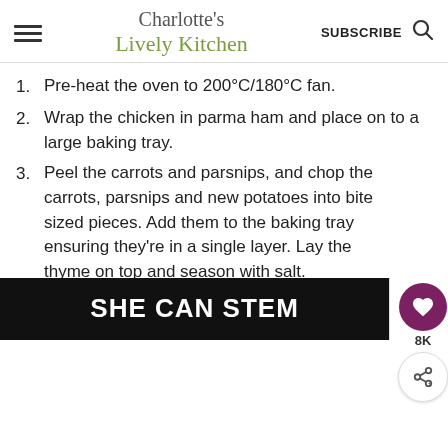Charlotte's Lively Kitchen | SUBSCRIBE
1. Pre-heat the oven to 200°C/180°C fan.
2. Wrap the chicken in parma ham and place on to a large baking tray.
3. Peel the carrots and parsnips, and chop the carrots, parsnips and new potatoes into bite sized pieces. Add them to the baking tray ensuring they're in a single layer. Lay the thyme on top and season with salt.
4. In a cup or small bowl mix the brown sugar (1 tbsp), apple cider vinegar (2
[Figure (other): Advertisement banner with text 'SHE CAN STEM' on dark background with close/dismiss UI elements on the right]